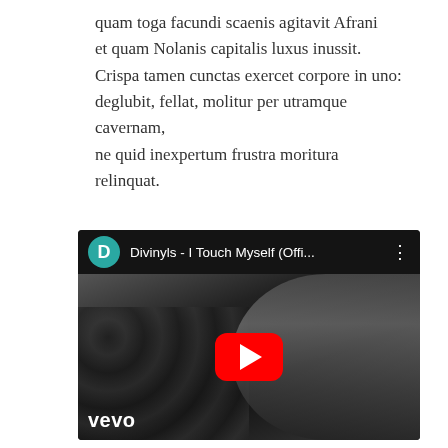quam toga facundi scaenis agitavit Afrani et quam Nolanis capitalis luxus inussit. Crispa tamen cunctas exercet corpore in uno: deglubit, fellat, molitur per utramque cavernam, ne quid inexpertum frustra moritura relinquat.
[Figure (screenshot): YouTube video screenshot showing 'Divinyls - I Touch Myself (Offi...' with a teal avatar circle with letter D, a three-dot menu icon, a large red YouTube play button in the center, a black-and-white background photo of a woman on a couch, and the Vevo logo in the bottom left.]